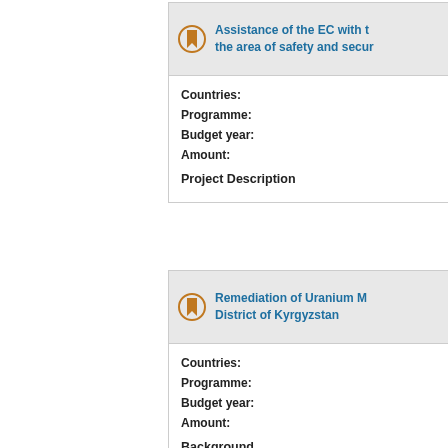Assistance of the EC with the area of safety and secur...
Countries:
Programme:
Budget year:
Amount:

Project Description
Remediation of Uranium M... District of Kyrgyzstan
Countries:
Programme:
Budget year:
Amount:

Background